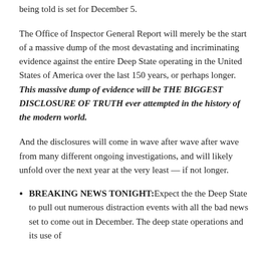being told is set for December 5.
The Office of Inspector General Report will merely be the start of a massive dump of the most devastating and incriminating evidence against the entire Deep State operating in the United States of America over the last 150 years, or perhaps longer. This massive dump of evidence will be THE BIGGEST DISCLOSURE OF TRUTH ever attempted in the history of the modern world.
And the disclosures will come in wave after wave after wave from many different ongoing investigations, and will likely unfold over the next year at the very least — if not longer.
BREAKING NEWS TONIGHT: Expect the the Deep State to pull out numerous distraction events with all the bad news set to come out in December. The deep state operations and its use of…